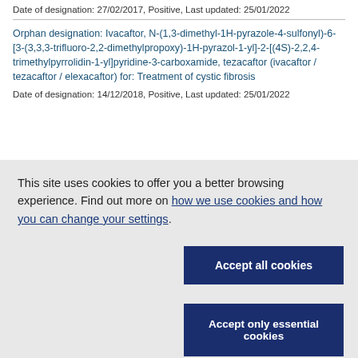Date of designation: 27/02/2017, Positive, Last updated: 25/01/2022
Orphan designation: Ivacaftor, N-(1,3-dimethyl-1H-pyrazole-4-sulfonyl)-6-[3-(3,3,3-trifluoro-2,2-dimethylpropoxy)-1H-pyrazol-1-yl]-2-[(4S)-2,2,4-trimethylpyrrolidin-1-yl]pyridine-3-carboxamide, tezacaftor (ivacaftor / tezacaftor / elexacaftor) for: Treatment of cystic fibrosis
Date of designation: 14/12/2018, Positive, Last updated: 25/01/2022
This site uses cookies to offer you a better browsing experience. Find out more on how we use cookies and how you can change your settings.
Accept all cookies
Accept only essential cookies